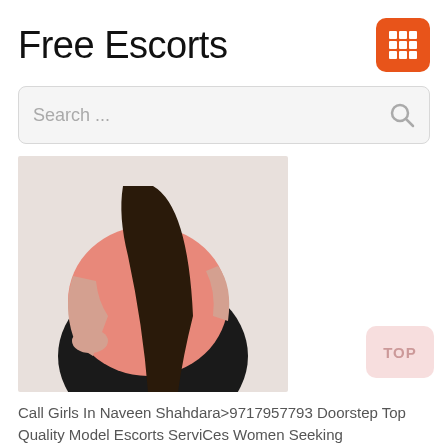Free Escorts
Search ...
[Figure (photo): Woman in pink t-shirt and black pants with long dark hair, standing against a light wall.]
Call Girls In Naveen Shahdara>9717957793 Doorstep Top Quality Model Escorts ServiCes Women Seeking